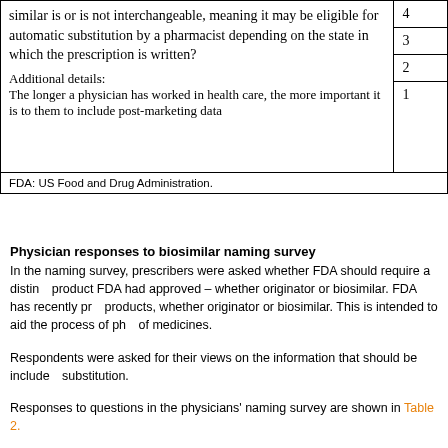| Question text | Scale |
| --- | --- |
| similar is or is not interchangeable, meaning it may be eligible for automatic substitution by a pharmacist depending on the state in which the prescription is written?
Additional details:
The longer a physician has worked in health care, the more important it is to them to include post-marketing data | 4
3
2
1 |
FDA: US Food and Drug Administration.
Physician responses to biosimilar naming survey
In the naming survey, prescribers were asked whether FDA should require a distinct name for each product FDA had approved – whether originator or biosimilar. FDA has recently proposed new naming for products, whether originator or biosimilar. This is intended to aid the process of pharmacovigilance of medicines.
Respondents were asked for their views on the information that should be included in any automatic substitution.
Responses to questions in the physicians' naming survey are shown in Table 2.